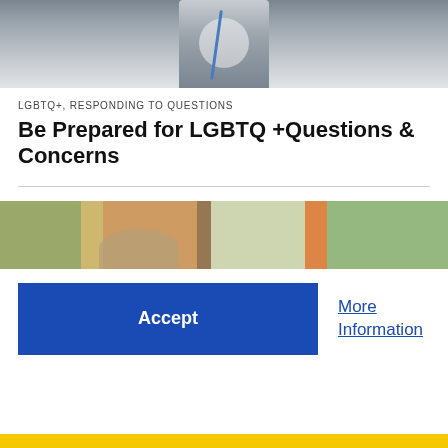[Figure (photo): Person wearing a grey vest and blue lanyard, cropped at chest/shoulder level, in an indoor setting]
LGBTQ+, RESPONDING TO QUESTIONS
Be Prepared for LGBTQ +Questions & Concerns
[Figure (photo): Classroom interior with colorful maps and posters on the wall, a student visible from behind]
Accept
More Information